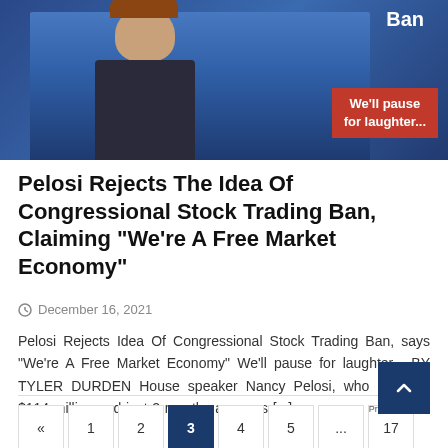[Figure (photo): Photo of Nancy Pelosi pointing with one finger raised, blue background, with text 'Ban' in upper right and a red overlay box reading 'We'll pause for laughter...']
Pelosi Rejects The Idea Of Congressional Stock Trading Ban, Claiming “We’re A Free Market Economy”
December 16, 2021
Pelosi Rejects Idea Of Congressional Stock Trading Ban, says “We’re A Free Market Economy” We’ll pause for laughter... BY TYLER DURDEN House speaker Nancy Pelosi, who is worth $114 million and just 2 months ago was [...]
« 1 2 3 4 5 ... 17